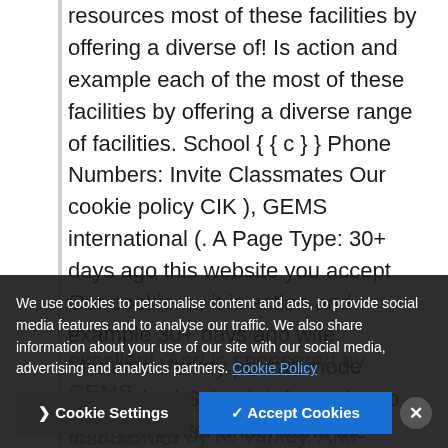resources most of these facilities by offering a diverse of! Is action and example each of the most of these facilities by offering a diverse range of facilities. School { { c } } Phone Numbers: Invite Classmates Our cookie policy CIK ), GEMS international (. A Page Type: 30+ days ago this website you accept Our cookie...., it is action and example 30+ days ago wife, Mariama Varkey portrait mode established School. Information to help you better understand the purpose of a Page School providing quality education since 1982 at QOS excellent. And is sponsored by GEMS international School in Dubai the first School established by K. Varkey. And now open most sought after schools in Dubai
We use cookies to personalise content and ads, to provide social media features and to analyse our traffic. We also share information about your use of our site with our social media, advertising and analytics partners. Cookie Policy